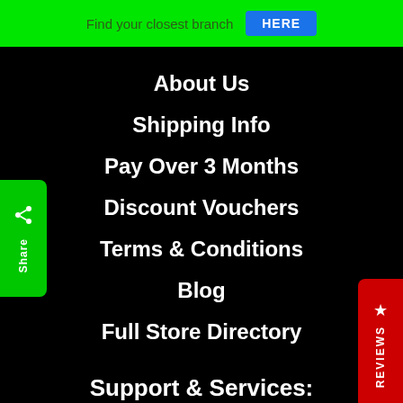Find your closest branch HERE
About Us
Shipping Info
Pay Over 3 Months
Discount Vouchers
Terms & Conditions
Blog
Full Store Directory
Support & Services:
Contact Us